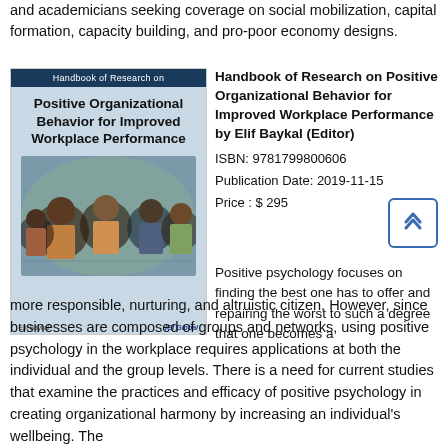and academicians seeking coverage on social mobilization, capital formation, capacity building, and pro-poor economy designs.
[Figure (photo): Book cover of 'Handbook of Research on Positive Organizational Behavior for Improved Workplace Performance' with a group of people in a colorful setting]
Handbook of Research on Positive Organizational Behavior for Improved Workplace Performance by Elif Baykal (Editor)
ISBN: 9781799800606
Publication Date: 2019-11-15
Price : $ 295
Positive psychology focuses on finding the best one has to offer and repairing the worst to such a degree that one becomes a more responsible, nurturing, and altruistic citizen. However, since businesses are composed of groups and networks, using positive psychology in the workplace requires applications at both the individual and the group levels. There is a need for current studies that examine the practices and efficacy of positive psychology in creating organizational harmony by increasing an individual's wellbeing. The